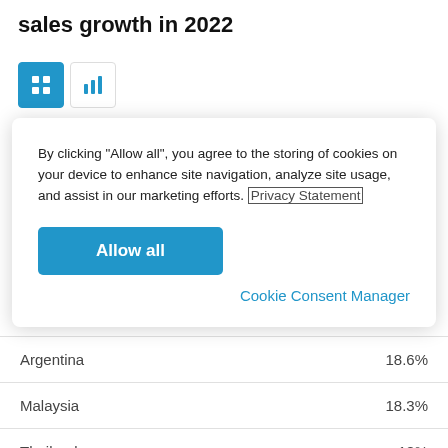sales growth in 2022
[Figure (screenshot): Two icon buttons: a grid icon (active/blue) and a bar chart icon (inactive/white)]
By clicking "Allow all", you agree to the storing of cookies on your device to enhance site navigation, analyze site usage, and assist in our marketing efforts. Privacy Statement
Allow all
Cookie Consent Manager
| Country | Value |
| --- | --- |
| Argentina | 18.6% |
| Malaysia | 18.3% |
| Thailand | 18% |
| Mexico | 18% |
| United States | 15.8% |